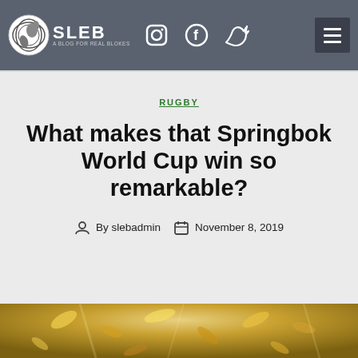SLEB — A Blog for Real Blokes (navigation bar with Instagram, Facebook, Twitter icons and hamburger menu)
RUGBY
What makes that Springbok World Cup win so remarkable?
By slebadmin   November 8, 2019
[Figure (photo): Close-up photo of golden confetti or decorations, blurred background]